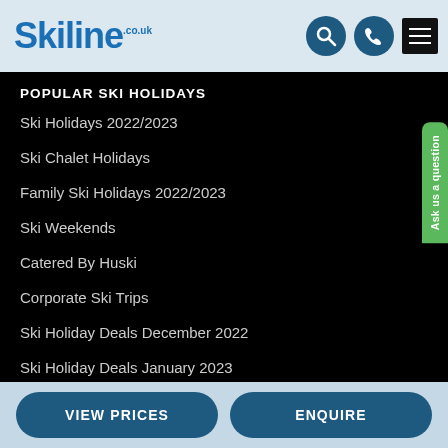[Figure (logo): Skiline.co.uk logo with search and phone icons and hamburger menu]
POPULAR SKI HOLIDAYS
Ski Holidays 2022/2023
Ski Chalet Holidays
Family Ski Holidays 2022/2023
Ski Weekends
Catered By Huski
Corporate Ski Trips
Ski Holiday Deals December 2022
Ski Holiday Deals January 2023
VIEW PRICES   ENQUIRE